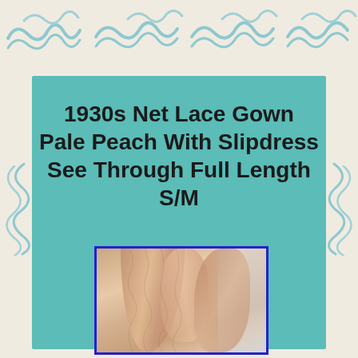[Figure (illustration): Decorative wave/scroll pattern border at top of page on cream background]
1930s Net Lace Gown Pale Peach With Slipdress See Through Full Length S/M
[Figure (photo): Close-up photograph of a pale peach/nude colored net lace gown fabric with folds visible, framed with a blue border]